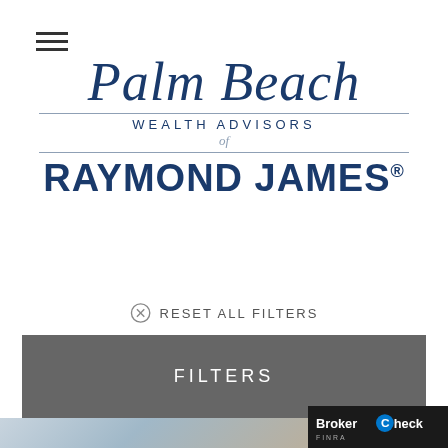[Figure (logo): Hamburger menu icon (three horizontal lines)]
[Figure (logo): Palm Beach Wealth Advisors of Raymond James logo — 'Palm Beach' in large dark blue italic script, 'WEALTH ADVISORS' in spaced uppercase, 'of' in italic, 'RAYMOND JAMES®' in bold navy uppercase, with horizontal divider lines]
⊗ RESET ALL FILTERS
FILTERS
[Figure (photo): Partial photo showing two people, a woman facing forward and another person in foreground, blurred background, bottom of page]
[Figure (logo): BrokerCheck by FINRA logo in bottom right corner, dark background]